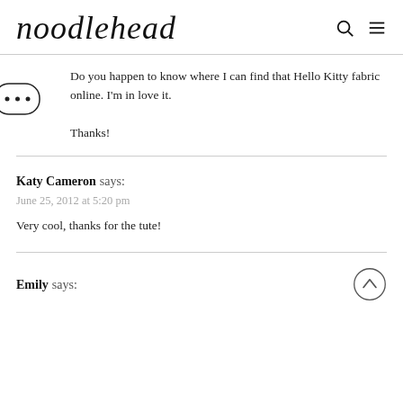noodlehead
Do you happen to know where I can find that Hello Kitty fabric online. I'm in love it.

Thanks!
Katy Cameron says:
June 25, 2012 at 5:20 pm
Very cool, thanks for the tute!
Emily says: